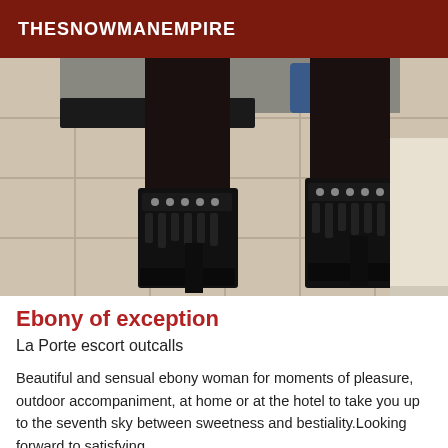THESNOWMANEMPIRE
[Figure (photo): Photo of a woman's legs from the knees down, wearing black high-heel ankle boots with studded straps, standing on a light tile floor. She is wearing black stockings/tights.]
Ebony of exception
La Porte escort outcalls
Beautiful and sensual ebony woman for moments of pleasure, outdoor accompaniment, at home or at the hotel to take you up to the seventh sky between sweetness and bestiality.Looking forward to satisfying